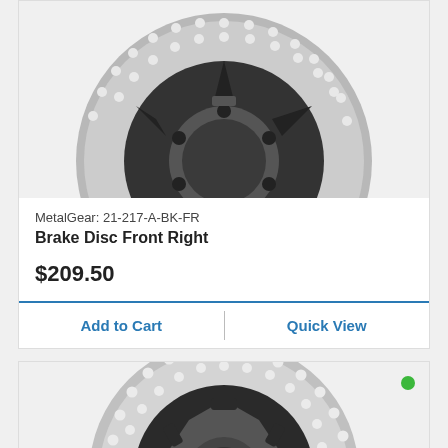[Figure (photo): Motorcycle brake disc front right, black center spider with silver/grey drilled rotor, product photo on grey background, cropped to show top half]
MetalGear: 21-217-A-BK-FR
Brake Disc Front Right
$209.50
Add to Cart
Quick View
[Figure (photo): Motorcycle brake disc, silver/grey drilled rotor with black center hub, full circular product photo on grey background, green availability dot in top right]